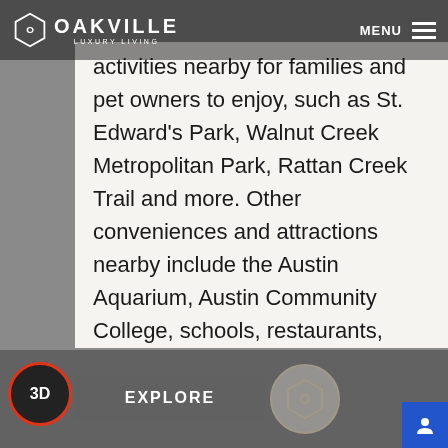OAKVILLE LUXURY LIVING | MENU
activities nearby for families and pet owners to enjoy, such as St. Edward's Park, Walnut Creek Metropolitan Park, Rattan Creek Trail and more. Other conveniences and attractions nearby include the Austin Aquarium, Austin Community College, schools, restaurants, grocery stores, fine arts, RV parks, shopping and more. Interstate 35 is also around the corner, so you'll have easy access to the entire Austin metropolitan area.
EXPLORE